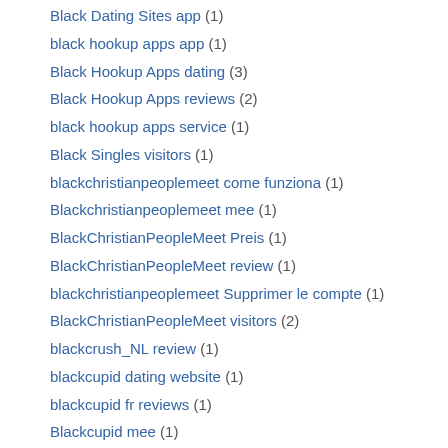Black Dating Sites app (1)
black hookup apps app (1)
Black Hookup Apps dating (3)
Black Hookup Apps reviews (2)
black hookup apps service (1)
Black Singles visitors (1)
blackchristianpeoplemeet come funziona (1)
Blackchristianpeoplemeet mee (1)
BlackChristianPeopleMeet Preis (1)
BlackChristianPeopleMeet review (1)
blackchristianpeoplemeet Supprimer le compte (1)
BlackChristianPeopleMeet visitors (2)
blackcrush_NL review (1)
blackcupid dating website (1)
blackcupid fr reviews (1)
Blackcupid mee (1)
blackcupid review (2)
Blackcupid unf?hige (1)